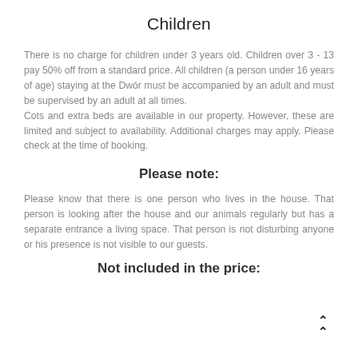Children
There is no charge for children under 3 years old. Children over 3 - 13 pay 50% off from a standard price. All children (a person under 16 years of age) staying at the Dwór must be accompanied by an adult and must be supervised by an adult at all times.
Cots and extra beds are available in our property. However, these are limited and subject to availability. Additional charges may apply. Please check at the time of booking.
Please note:
Please know that there is one person who lives in the house. That person is looking after the house and our animals regularly but has a separate entrance a living space. That person is not disturbing anyone or his presence is not visible to our guests.
Not included in the price: